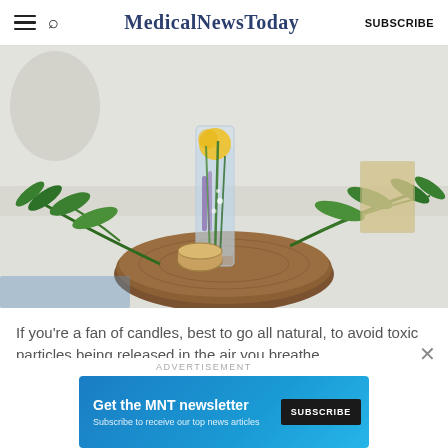MedicalNewsToday
[Figure (photo): A floral table centerpiece with green leaves and yellow flowers in a glass vase, placed on a wooden slice, on a white table. Blurred background with books and other decor.]
If you're a fan of candles, best to go all natural, to avoid toxic particles being released in the air you breathe.
ADVERTISEMENT
[Figure (other): Advertisement banner: 'Get the MNT newsletter — Subscribe to receive our top news articles' with a SUBSCRIBE button on dark background.]